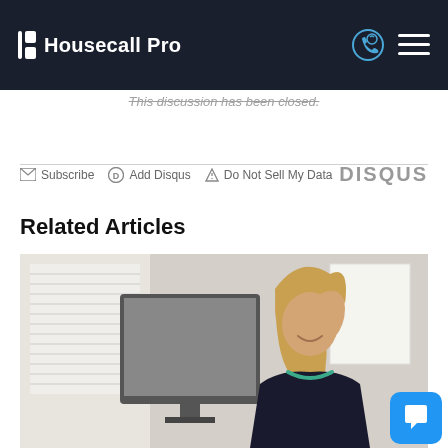Housecall Pro
This discussion has been closed.
Subscribe  Add Disqus  Do Not Sell My Data  DISQUS
Related Articles
[Figure (photo): A woman with long blonde hair wearing a black sleeveless top and teal necklace, sitting at a desk working at a computer monitor. Office setting with window blinds visible on the left.]